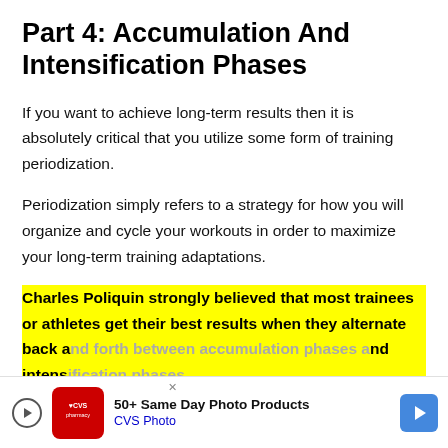Part 4: Accumulation And Intensification Phases
If you want to achieve long-term results then it is absolutely critical that you utilize some form of training periodization.
Periodization simply refers to a strategy for how you will organize and cycle your workouts in order to maximize your long-term training adaptations.
Charles Poliquin strongly believed that most trainees or athletes get their best results when they alternate back and forth between accumulation phases and intensification phases.
[Figure (other): CVS Pharmacy advertisement banner at bottom of page: '50+ Same Day Photo Products - CVS Photo']